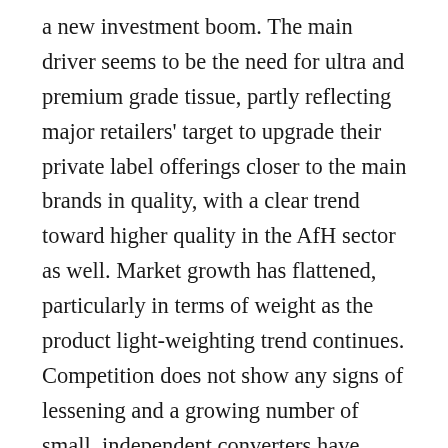a new investment boom. The main driver seems to be the need for ultra and premium grade tissue, partly reflecting major retailers' target to upgrade their private label offerings closer to the main brands in quality, with a clear trend toward higher quality in the AfH sector as well. Market growth has flattened, particularly in terms of weight as the product light-weighting trend continues. Competition does not show any signs of lessening and a growing number of small, independent converters have forged ahead because of niche products, flexible service and sub-contracting orders from big players. No return to high growth rates expected in the North American tissue market, with some concerns about the expected t